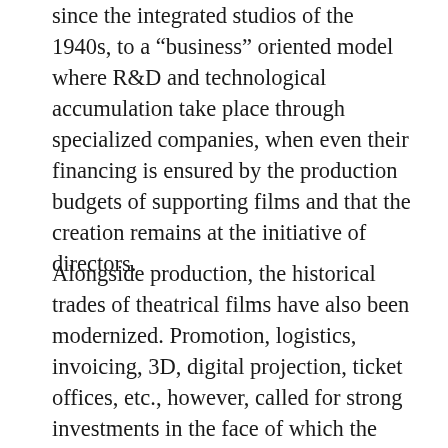since the integrated studios of the 1940s, to a “business” oriented model where R&D and technological accumulation take place through specialized companies, when even their financing is ensured by the production budgets of supporting films and that the creation remains at the initiative of directors.
Alongside production, the historical trades of theatrical films have also been modernized. Promotion, logistics, invoicing, 3D, digital projection, ticket offices, etc., however, called for strong investments in the face of which the players in the sector found themselves helpless. The industry’s downstream has been marked, until then, by opposing dynamics: low capitalization in